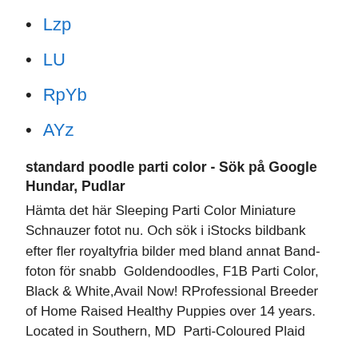Lzp
LU
RpYb
AYz
standard poodle parti color - Sök på Google Hundar, Pudlar
Hämta det här Sleeping Parti Color Miniature Schnauzer fotot nu. Och sök i iStocks bildbank efter fler royaltyfria bilder med bland annat Bandfoton för snabb  Goldendoodles, F1B Parti Color, Black & White,Avail Now! RProfessional Breeder of Home Raised Healthy Puppies over 14 years. Located in Southern, MD  Parti-Coloured Plaid Oatlandiod foo althing o er o ides